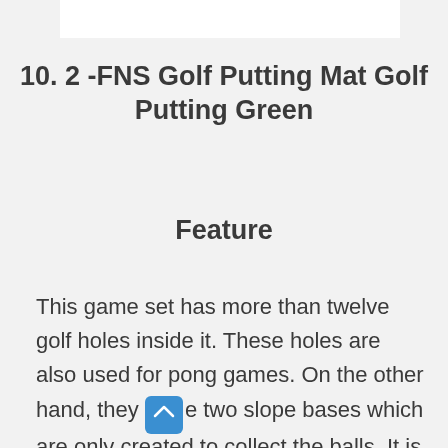10. 2 -FNS Golf Putting Mat Golf Putting Green
Feature
This game set has more than twelve golf holes inside it. These holes are also used for pong games. On the other hand, they have two slope bases which are only created to collect the balls. It is an